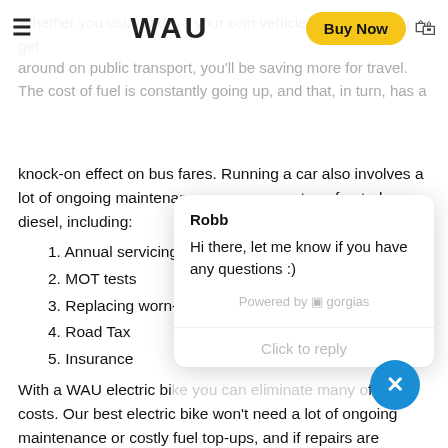WAU — Buy Now
Whether you usually drive your own vehicle or whether you get around on public transport, you'll be paying more for travel. The cost of fuel is constantly going up, and that, in turn, has a knock-on effect on bus fares. Running a car also involves a lot of ongoing maintenance expenses on top of petrol or diesel, including:
1. Annual servicing
2. MOT tests
3. Replacing worn-out parts
4. Road Tax
5. Insurance
[Figure (screenshot): Chat popup overlay from Robb: 'Hi there, let me know if you have any questions :)' powered by gorgias, with Click to reply button]
With a WAU electric bike you can eliminate many of those costs. Our best electric bike won't need a lot of ongoing maintenance or costly fuel top-ups, and if repairs are needed they're a lot more affordable than car repairs, especially with the warranty that we offer on our e-bikes. The battery is covered for two years (or 800 charges), while the electrical and other